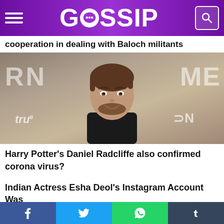GOSSIP
cooperation in dealing with Baloch militants
[Figure (photo): Photo of Daniel Radcliffe smiling in front of a branded backdrop showing logos including 'tru' and 'CN']
Harry Potter's Daniel Radcliffe also confirmed corona virus?
Indian Actress Esha Deol's Instagram Account Was
Facebook | Twitter | WhatsApp | Tumblr social share bar